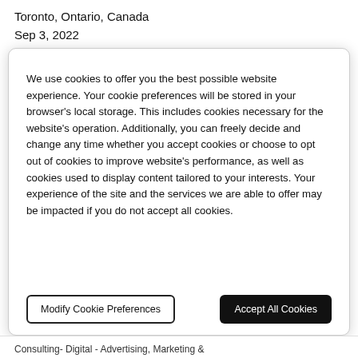Toronto, Ontario, Canada
Sep 3, 2022
We use cookies to offer you the best possible website experience. Your cookie preferences will be stored in your browser's local storage. This includes cookies necessary for the website's operation. Additionally, you can freely decide and change any time whether you accept cookies or choose to opt out of cookies to improve website's performance, as well as cookies used to display content tailored to your interests. Your experience of the site and the services we are able to offer may be impacted if you do not accept all cookies.
Modify Cookie Preferences
Accept All Cookies
Consulting- Digital - Advertising, Marketing &